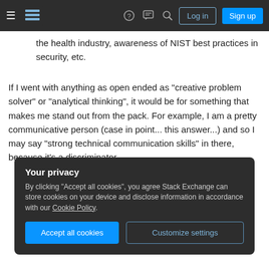Stack Exchange navigation bar with Log in and Sign up buttons
the health industry, awareness of NIST best practices in security, etc.
If I went with anything as open ended as "creative problem solver" or "analytical thinking", it would be for something that makes me stand out from the pack. For example, I am a pretty communicative person (case in point... this answer...) and so I may say "strong technical communication skills" in there, because it's a discriminator.
Your privacy
By clicking "Accept all cookies", you agree Stack Exchange can store cookies on your device and disclose information in accordance with our Cookie Policy.
Accept all cookies  Customize settings